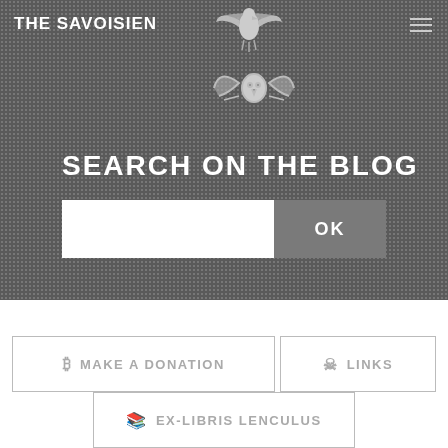THE SAVOISIEN
[Figure (logo): Eagle/bird heraldic logo graphic at top center]
SEARCH ON THE BLOG
[Figure (screenshot): Search input box with OK button]
MAKE A DONATION
LINKS
EX-LIBRIS LENCULUS